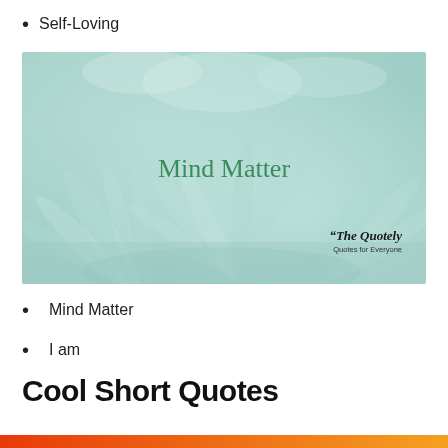Self-Loving
[Figure (illustration): A soft mint/teal feathery background image with the text 'Mind Matter' in green serif font centered, and a 'The Quotely - Quotes for Everyone' watermark in the bottom right corner.]
Mind Matter
I am
Cool Short Quotes